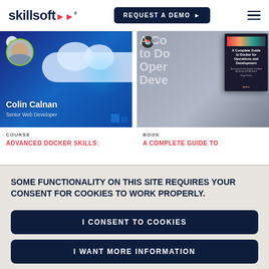skillsoft | REQUEST A DEMO
[Figure (screenshot): Course thumbnail featuring Colin Calnan, Senior Web Developer, with a cloud computing background image on dark blue]
COURSE
ADVANCED DOCKER SKILLS:
[Figure (screenshot): Book thumbnail for 'A Complete Guide to Docker for Operations and Development' with book cover visible]
BOOK
A COMPLETE GUIDE TO
SOME FUNCTIONALITY ON THIS SITE REQUIRES YOUR CONSENT FOR COOKIES TO WORK PROPERLY.
I CONSENT TO COOKIES
I WANT MORE INFORMATION